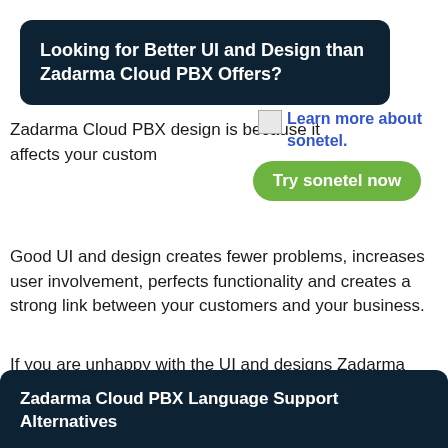Looking for Better UI and Design than Zadarma Cloud PBX Offers?
[Figure (other): Broken image icon for sonetel]
Learn more about sonetel.
Try sonetel now
Zadarma Cloud PBX design is because it affects your custom
Good UI and design creates fewer problems, increases user involvement, perfects functionality and creates a strong link between your customers and your business.
If you are unhappy with the UI and designs Zadarma Cloud PBX offers we list some of the top Zadarma Cloud PBX alternatives.
Zadarma Cloud PBX Language Support Alternatives